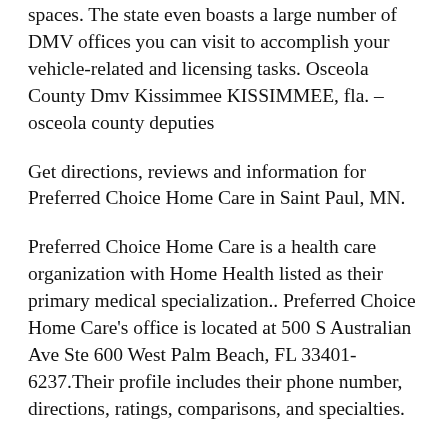spaces. The state even boasts a large number of DMV offices you can visit to accomplish your vehicle-related and licensing tasks. Osceola County Dmv Kissimmee KISSIMMEE, fla. – osceola county deputies
Get directions, reviews and information for Preferred Choice Home Care in Saint Paul, MN.
Preferred Choice Home Care is a health care organization with Home Health listed as their primary medical specialization.. Preferred Choice Home Care's office is located at 500 S Australian Ave Ste 600 West Palm Beach, FL 33401-6237.Their profile includes their phone number, directions, ratings, comparisons, and specialties.
But at the same time, a service connection is also...